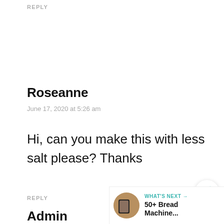REPLY
Roseanne
June 17, 2020 at 5:26 am
Hi, can you make this with less salt please? Thanks
REPLY
Admin